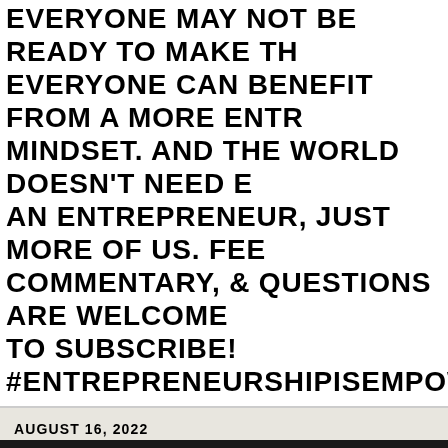EVERYONE MAY NOT BE READY TO MAKE TH EVERYONE CAN BENEFIT FROM A MORE ENTR MINDSET. AND THE WORLD DOESN'T NEED E AN ENTREPRENEUR, JUST MORE OF US. FEE COMMENTARY, & QUESTIONS ARE WELCOME TO SUBSCRIBE! #entrepreneurshipisempowerme
AUGUST 16, 2022
What Kind of Business Should Start? that Loving Feeling For Your Current (GASP!)